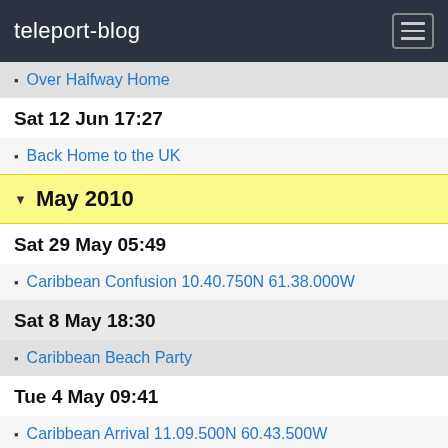teleport-blog
Over Halfway Home
Sat 12 Jun 17:27
Back Home to the UK
May 2010
Sat 29 May 05:49
Caribbean Confusion 10.40.750N 61.38.000W
Sat 8 May 18:30
Caribbean Beach Party
Tue 4 May 09:41
Caribbean Arrival 11.09.500N 60.43.500W
Sun 2 May 22:49
Over 10,000 Miles 08.06.000N 56.10.000W
Running Dark 06.30.000N 53.40.000W
Apr 2010
Tue 27 Apr 12:32